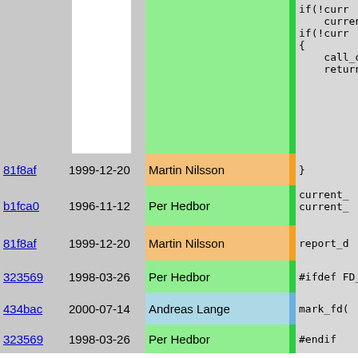| hash | date | author |  | code |
| --- | --- | --- | --- | --- |
|  |  |  |  | if(!curr
    curren
if(!curr
{
    call_o
    return |
| 81f8af | 1999-12-20 | Martin Nilsson |  | } |
| b1fca0 | 1996-11-12 | Per Hedbor |  | current_
current_ |
| 81f8af | 1999-12-20 | Martin Nilsson |  | report_d |
| 323569 | 1998-03-26 | Per Hedbor |  | #ifdef FD_ |
| 434bac | 2000-07-14 | Andreas Lange |  | mark_fd( |
| 323569 | 1998-03-26 | Per Hedbor |  | #endif |
| b1fca0 | 1996-11-12 | Per Hedbor |  | } |
| f6d62d | 1997-03-26 | Per Hedbor |  |  |
| b1fca0 | 1996-11-12 | Per Hedbor |  | int increa
{
    if(!curr
    {
        restor |
| add34e | 2000-08-17 | Per Hedbor |  | return |